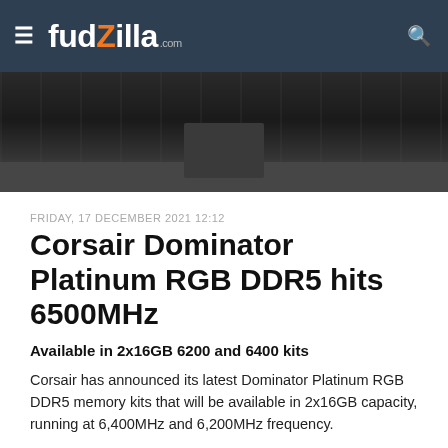fudzilla.com
[Figure (photo): Close-up photo of dark computer hardware components, likely RAM or GPU, on a dark background]
FRIDAY, 17 DECEMBER 2021 12:12
Corsair Dominator Platinum RGB DDR5 hits 6500MHz
Available in 2x16GB 6200 and 6400 kits
Corsair has announced its latest Dominator Platinum RGB DDR5 memory kits that will be available in 2x16GB capacity, running at 6,400MHz and 6,200MHz frequency.
[Figure (photo): Partial photo of dark computer hardware with PC HARDWARE label overlay in orange]